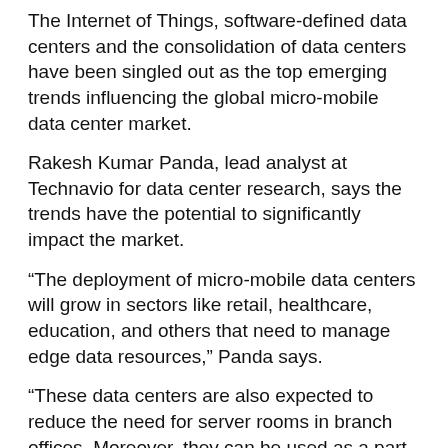The Internet of Things, software-defined data centers and the consolidation of data centers have been singled out as the top emerging trends influencing the global micro-mobile data center market.
Rakesh Kumar Panda, lead analyst at Technavio for data center research, says the trends have the potential to significantly impact the market.
“The deployment of micro-mobile data centers will grow in sectors like retail, healthcare, education, and others that need to manage edge data resources,” Panda says.
“These data centers are also expected to reduce the need for server rooms in branch offices. Moreover, they can be used as a part of traditional data center facilities and in colocation spaces,” he explains.
Growth of IoT